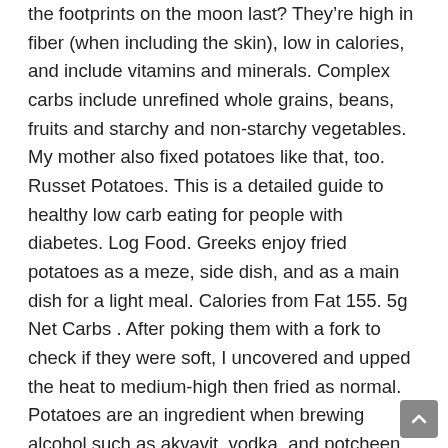the footprints on the moon last? They're high in fiber (when including the skin), low in calories, and include vitamins and minerals. Complex carbs include unrefined whole grains, beans, fruits and starchy and non-starchy vegetables. My mother also fixed potatoes like that, too. Russet Potatoes. This is a detailed guide to healthy low carb eating for people with diabetes. Log Food. Greeks enjoy fried potatoes as a meze, side dish, and as a main dish for a light meal. Calories from Fat 155. 5g Net Carbs . After poking them with a fork to check if they were soft, I uncovered and upped the heat to medium-high then fried as normal. Potatoes are an ingredient when brewing alcohol such as akvavit, vodka, and potcheen. 25. Unfortunately, they only contain two grams of dietary fiber, so they still contain about 24 grams of net carbs. Start; Food Tracker. Calculate burning calories for other portions: 100g 1 package 1 oz 10 fries 10 strips. The most important thing is to manage how many potatoes you consume at one meal. White Potatoes. The GI rates different foods as high (GI above 70), medium (GI of 56 to 69),